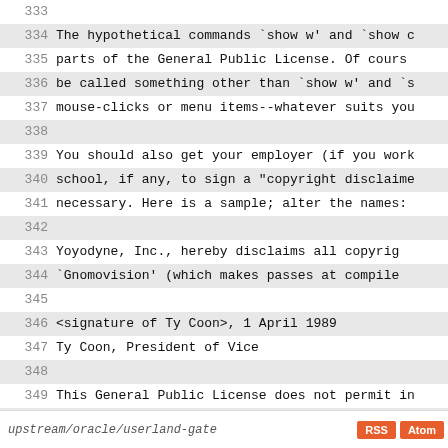333
334  The hypothetical commands `show w' and `show c
335  parts of the General Public License.  Of cours
336  be called something other than `show w' and `s
337  mouse-clicks or menu items--whatever suits you
338
339  You should also get your employer (if you work
340  school, if any, to sign a "copyright disclaime
341  necessary.  Here is a sample; alter the names:
342
343    Yoyodyne, Inc., hereby disclaims all copyrig
344    `Gnomovision' (which makes passes at compile
345
346    <signature of Ty Coon>, 1 April 1989
347    Ty Coon, President of Vice
348
349  This General Public License does not permit in
350  proprietary programs.  If your program is a su
351  consider it more useful to permit linking prop
352  library.  If this is what you want to do, use
353  Public License instead of this License.
upstream/oracle/userland-gate